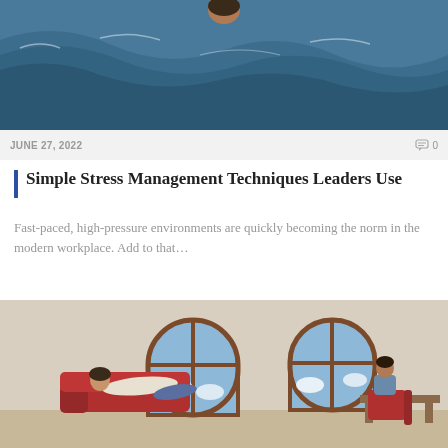[Figure (photo): Ocean waves with a person partially visible, representing stress or being overwhelmed]
JUNE 27, 2022
0
Simple Stress Management Techniques Leaders Use
Fast-paced, high-pressure environments are quickly becoming the norm in the modern workplace. Add to that…
[Figure (illustration): Illustration of a therapy session with a patient lying on a red couch and a mental health professional sitting at a desk, with arched windows in the background showing a blue sky with clouds. A tag reads MENTAL HEALTH PROFESSIONALS.]